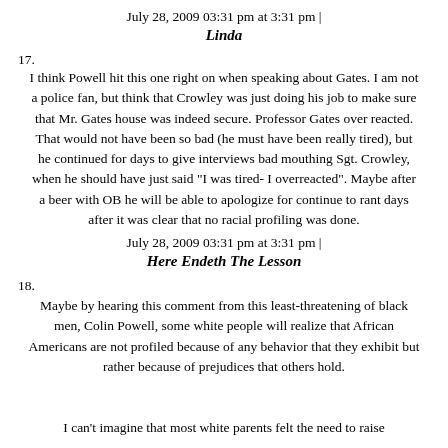July 28, 2009 03:31 pm at 3:31 pm |
Linda
I think Powell hit this one right on when speaking about Gates. I am not a police fan, but think that Crowley was just doing his job to make sure that Mr. Gates house was indeed secure. Professor Gates over reacted. That would not have been so bad (he must have been really tired), but he continued for days to give interviews bad mouthing Sgt. Crowley, when he should have just said "I was tired- I overreacted". Maybe after a beer with OB he will be able to apologize for continue to rant days after it was clear that no racial profiling was done.
July 28, 2009 03:31 pm at 3:31 pm |
Here Endeth The Lesson
Maybe by hearing this comment from this least-threatening of black men, Colin Powell, some white people will realize that African Americans are not profiled because of any behavior that they exhibit but rather because of prejudices that others hold.
I can't imagine that most white parents felt the need to raise